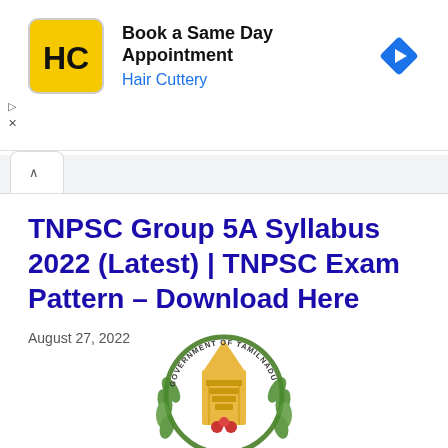[Figure (logo): Hair Cuttery advertisement banner with HC logo in yellow square, text 'Book a Same Day Appointment' and 'Hair Cuttery' in blue, blue diamond arrow icon on right]
August 27, 2022
TNPSC Group 5A Syllabus 2022 (Latest) | TNPSC Exam Pattern – Download Here
[Figure (logo): Government of Tamil Nadu emblem showing a temple gopuram surrounded by a circular green wreath with red flowers, text 'GOVERNMENT OF TAMILNADU' around the border]